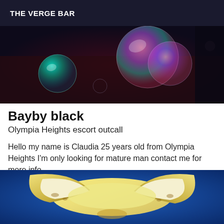THE VERGE BAR
[Figure (photo): Close-up photo of colorful soap bubbles floating in a dark background with green and pink/rainbow iridescent colors]
Bayby black
Olympia Heights escort outcall
Hello my name is Claudia 25 years old from Olympia Heights I'm only looking for mature man contact me for more info
[Figure (photo): Close-up photo of a peeled banana against a blue background]